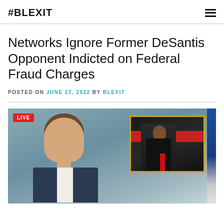#BLEXIT
Networks Ignore Former DeSantis Opponent Indicted on Federal Fraud Charges
POSTED ON JUNE 22, 2022 BY BLEXIT
[Figure (screenshot): TV news screenshot showing a male news anchor on a live broadcast with a LIVE badge in the top left, and a picture-in-picture inset showing a Black man in a suit at a podium with a red stripe background.]